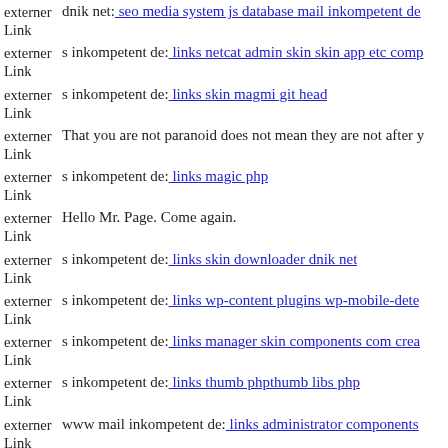externer Link  dnik net: seo media system js database mail inkompetent de
externer Link  s inkompetent de: links netcat admin skin skin app etc comp
externer Link  s inkompetent de: links skin magmi git head
externer Link  That you are not paranoid does not mean they are not after you
externer Link  s inkompetent de: links magic php
externer Link  Hello Mr. Page. Come again.
externer Link  s inkompetent de: links skin downloader dnik net
externer Link  s inkompetent de: links wp-content plugins wp-mobile-dete
externer Link  s inkompetent de: links manager skin components com crea
externer Link  s inkompetent de: links thumb phpthumb libs php
externer Link  www mail inkompetent de: links administrator components
externer Link  ...